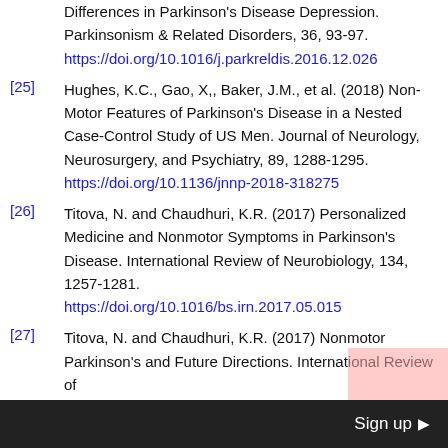[24] ...Differences in Parkinson's Disease Depression. Parkinsonism & Related Disorders, 36, 93-97. https://doi.org/10.1016/j.parkreldis.2016.12.026
[25] Hughes, K.C., Gao, X,, Baker, J.M., et al. (2018) Non-Motor Features of Parkinson's Disease in a Nested Case-Control Study of US Men. Journal of Neurology, Neurosurgery, and Psychiatry, 89, 1288-1295. https://doi.org/10.1136/jnnp-2018-318275
[26] Titova, N. and Chaudhuri, K.R. (2017) Personalized Medicine and Nonmotor Symptoms in Parkinson's Disease. International Review of Neurobiology, 134, 1257-1281. https://doi.org/10.1016/bs.irn.2017.05.015
[27] Titova, N. and Chaudhuri, K.R. (2017) Nonmotor Parkinson's and Future Directions. International Review of
Sign up